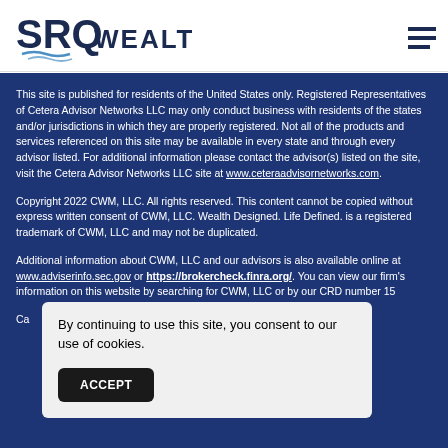[Figure (logo): SRQ Wealth logo with wave graphic]
This site is published for residents of the United States only. Registered Representatives of Cetera Advisor Networks LLC may only conduct business with residents of the states and/or jurisdictions in which they are properly registered. Not all of the products and services referenced on this site may be available in every state and through every advisor listed. For additional information please contact the advisor(s) listed on the site, visit the Cetera Advisor Networks LLC site at www.ceteraadvisornetworks.com.
Copyright 2022 CWM, LLC. All rights reserved. This content cannot be copied without express written consent of CWM, LLC. Wealth Designed. Life Defined. is a registered trademark of CWM, LLC and may not be duplicated.
Additional information about CWM, LLC and our advisors is also available online at www.adviserinfo.sec.gov or https://brokercheck.finra.org/. You can view our firm's information on this website by searching for CWM, LLC or by our CRD number 15...
Ca...
By continuing to use this site, you consent to our use of cookies.